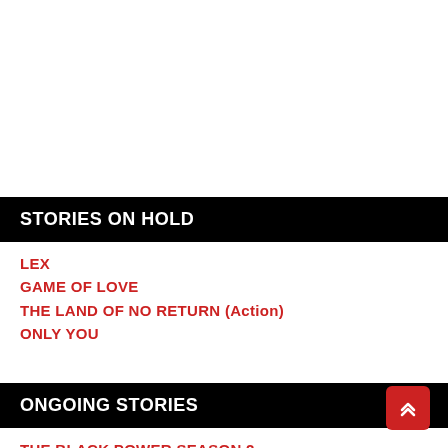STORIES ON HOLD
LEX
GAME OF LOVE
THE LAND OF NO RETURN (Action)
ONLY YOU
ONGOING STORIES
THE BLACK POWER SEASON 2
WITCHES LUST SEASON 2
LUCAS REVENGE
BOYS INLOVE